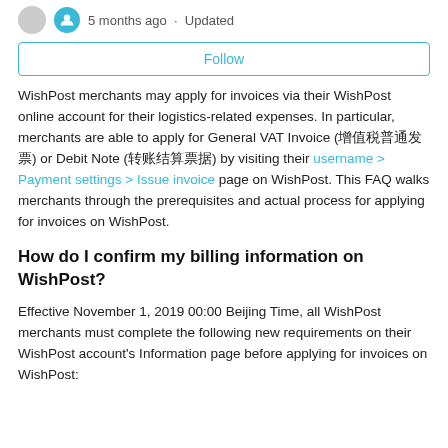5 months ago · Updated
Follow
WishPost merchants may apply for invoices via their WishPost online account for their logistics-related expenses. In particular, merchants are able to apply for General VAT Invoice (增值税普通发票) or Debit Note (转账结算票据) by visiting their username > Payment settings > Issue invoice page on WishPost. This FAQ walks merchants through the prerequisites and actual process for applying for invoices on WishPost.
How do I confirm my billing information on WishPost?
Effective November 1, 2019 00:00 Beijing Time, all WishPost merchants must complete the following new requirements on their WishPost account's Information page before applying for invoices on WishPost: